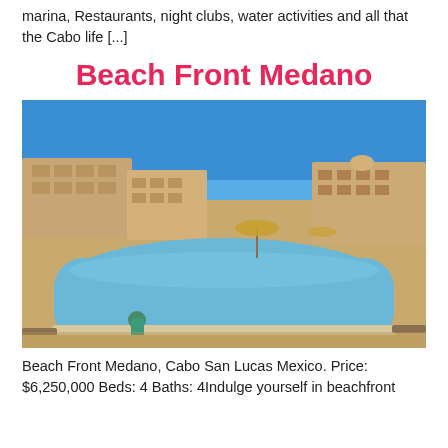marina, Restaurants, night clubs, water activities and all that the Cabo life [...]
Beach Front Medano
[Figure (photo): Outdoor swimming pool area at a beach resort in Cabo San Lucas Mexico, with a woman in a teal swimsuit sitting at the pool edge, beige resort buildings in background under a deep blue sky.]
Beach Front Medano, Cabo San Lucas Mexico. Price: $6,250,000  Beds: 4  Baths: 4Indulge yourself in beachfront